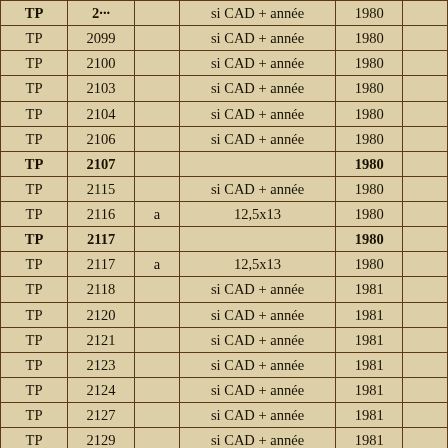|  |  |  |  |  |  |
| --- | --- | --- | --- | --- | --- |
| TP | 2099 |  | si CAD + année | 1980 |  |
| TP | 2100 |  | si CAD + année | 1980 |  |
| TP | 2103 |  | si CAD + année | 1980 |  |
| TP | 2104 |  | si CAD + année | 1980 |  |
| TP | 2106 |  | si CAD + année | 1980 |  |
| TP | 2107 |  |  | 1980 |  |
| TP | 2115 |  | si CAD + année | 1980 |  |
| TP | 2116 | a | 12,5x13 | 1980 |  |
| TP | 2117 |  |  | 1980 |  |
| TP | 2117 | a | 12,5x13 | 1980 |  |
| TP | 2118 |  | si CAD + année | 1981 |  |
| TP | 2120 |  | si CAD + année | 1981 |  |
| TP | 2121 |  | si CAD + année | 1981 |  |
| TP | 2123 |  | si CAD + année | 1981 |  |
| TP | 2124 |  | si CAD + année | 1981 |  |
| TP | 2127 |  | si CAD + année | 1981 |  |
| TP | 2129 |  | si CAD + année | 1981 |  |
| TP | 2131 |  | si CAD + année | 1981 |  |
| TP | 2133 |  | si CAD + année | 1981 |  |
| TP | 2136 |  | si CAD + année | 1981 |  |
| TP | 2136 | a |  | 1981 |  |